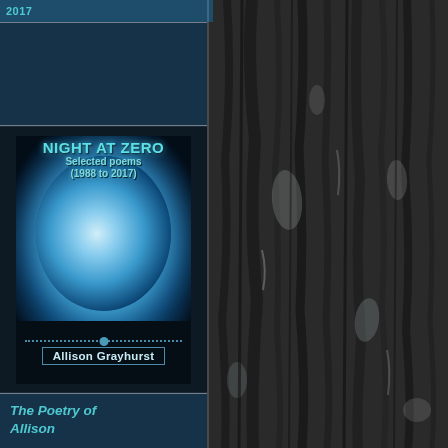2017
[Figure (illustration): Book cover for 'Night at Zero: Selected poems (1988 to 2017)' by Allison Grayhurst. Dark cover with glowing blue spherical figure, teal/cyan title text, dotted separator line, and author name in a rectangular border.]
[Figure (photo): Dark gray textured tree bark background filling the right half of the page, with vertical streaks and crevices in shades of gray and charcoal.]
The Poetry of Allison